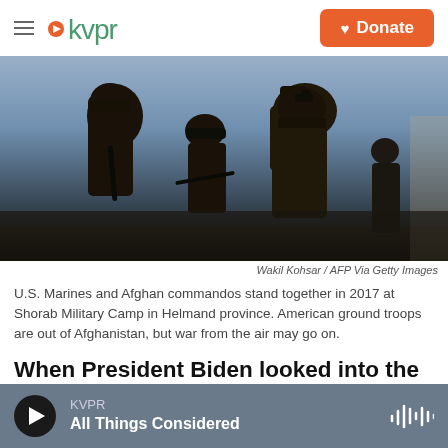kvpr  Donate
[Figure (photo): Silhouette of U.S. Marines and Afghan commandos standing together against a dusk sky background]
Wakil Kohsar / AFP Via Getty Images
U.S. Marines and Afghan commandos stand together in 2017 at Shorab Military Camp in Helmand province. American ground troops are out of Afghanistan, but war from the air may go on.
When President Biden looked into the cameras last week and firmly declared that "the war in Afghanistan is now over" his words were, in his
KVPR  All Things Considered